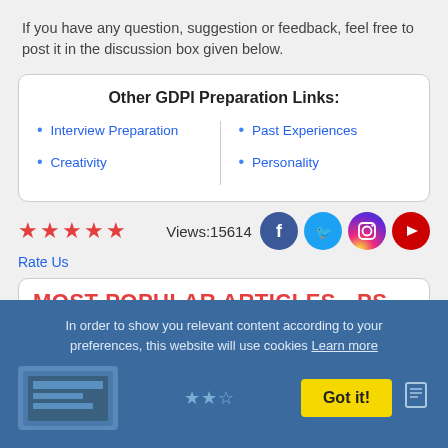If you have any question, suggestion or feedback, feel free to post it in the discussion box given below.
Other GDPI Preparation Links:
Interview Preparation
Creativity
Past Experiences
Personality
Views:15614
Rate Us
MOST POPULAR ARTICLES - PS
In order to show you relevant content according to your preferences, this website will use cookies Learn more
Got it!